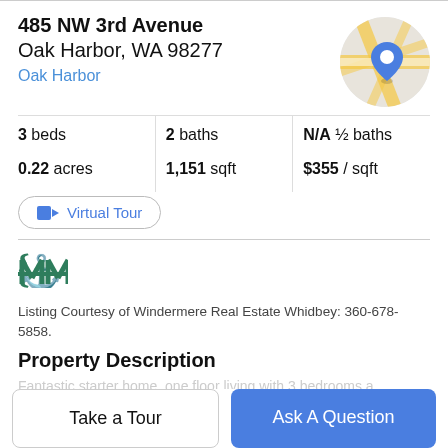485 NW 3rd Avenue
Oak Harbor, WA 98277
Oak Harbor
[Figure (map): Circular map thumbnail showing Oak Harbor location with a blue location pin marker on street map background]
| 3 beds | 2 baths | N/A ½ baths |
| 0.22 acres | 1,151 sqft | $355 / sqft |
Virtual Tour
Listing Courtesy of Windermere Real Estate Whidbey: 360-678-5858.
Property Description
Take a Tour
Ask A Question